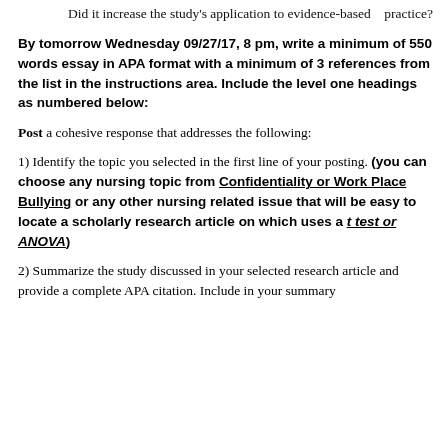Did it increase the study's application to evidence-based practice?
By tomorrow Wednesday 09/27/17, 8 pm, write a minimum of 550 words essay in APA format with a minimum of 3 references from the list in the instructions area. Include the level one headings as numbered below:
Post a cohesive response that addresses the following:
1) Identify the topic you selected in the first line of your posting. (you can choose any nursing topic from Confidentiality or Work Place Bullying or any other nursing related issue that will be easy to locate a scholarly research article on which uses a t test or ANOVA)
2) Summarize the study discussed in your selected research article and provide a complete APA citation. Include in your summary